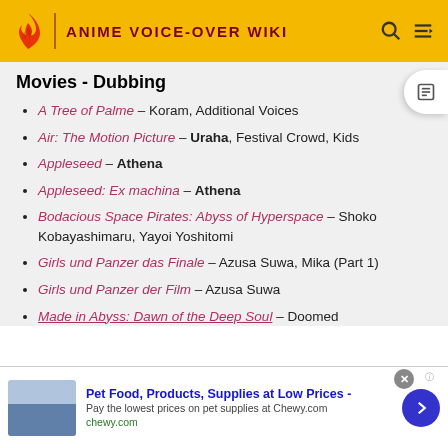ANIME VOICE-OVER WIKI
Movies - Dubbing
A Tree of Palme – Koram, Additional Voices
Air: The Motion Picture – Uraha, Festival Crowd, Kids
Appleseed – Athena
Appleseed: Ex machina – Athena
Bodacious Space Pirates: Abyss of Hyperspace – Shoko Kobayashimaru, Yayoi Yoshitomi
Girls und Panzer das Finale – Azusa Suwa, Mika (Part 1)
Girls und Panzer der Film – Azusa Suwa
Made in Abyss: Dawn of the Deep Soul – Doomed
Pet Food, Products, Supplies at Low Prices - Pay the lowest prices on pet supplies at Chewy.com chewy.com